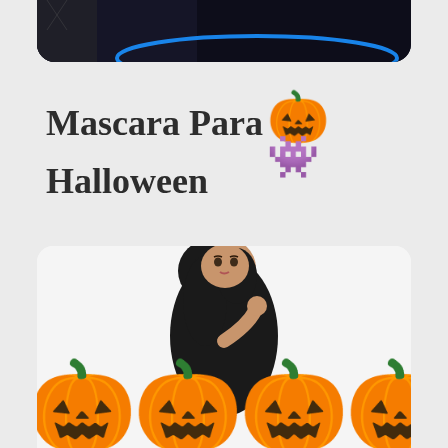[Figure (photo): Top card with dark blue/black background and blue curved light element, partially visible at top of page]
Mascara Para Halloween 🎃 👾
[Figure (photo): Bottom card showing a woman in a black outfit with long dark hair, surrounded by large Halloween jack-o-lantern pumpkin emojis along the bottom]